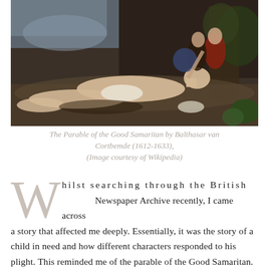[Figure (illustration): A classical oil painting depicting The Parable of the Good Samaritan by Balthasar van Cortbemde (1612-1633). A semi-clothed male figure lies on the ground while figures in the background attend to him in a rocky landscape.]
The Parable of the Good Samaritan by Balthasar van Cortbemde (1612-1633), (Image courtesy of Wikipedia)
Whilst searching through the British Newspaper Archive recently, I came across a story that affected me deeply. Essentially, it was the story of a child in need and how different characters responded to his plight. This reminded me of the parable of the Good Samaritan. When a